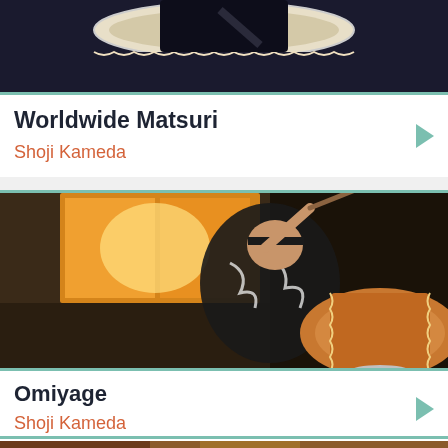[Figure (photo): Top portion of a person playing taiko drum, dark background]
Worldwide Matsuri
Shoji Kameda
[Figure (photo): Person in black and white patterned kimono playing a large taiko drum with drum stick raised, indoor setting with warm lighting]
Omiyage
Shoji Kameda
[Figure (photo): Partial view of another scene at the bottom of the page]